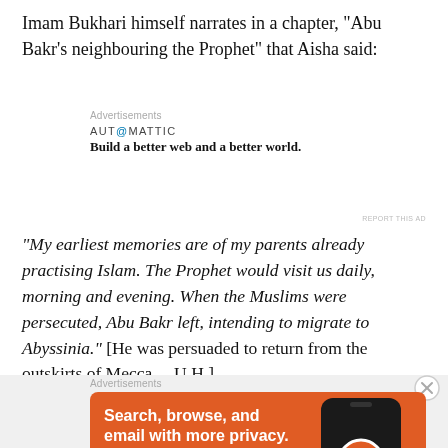Imam Bukhari himself narrates in a chapter, “Abu Bakr’s neighbouring the Prophet” that Aisha said:
[Figure (other): Automattic advertisement: logo text 'AUT@MATTIC' and tagline 'Build a better web and a better world.']
“My earliest memories are of my parents already practising Islam. The Prophet would visit us daily, morning and evening. When the Muslims were persecuted, Abu Bakr left, intending to migrate to Abyssinia.” [He was persuaded to return from the outskirts of Mecca. – U.H.]
[Figure (other): DuckDuckGo advertisement: orange background with text 'Search, browse, and email with more privacy. All in One Free App' and DuckDuckGo logo on a phone mockup.]